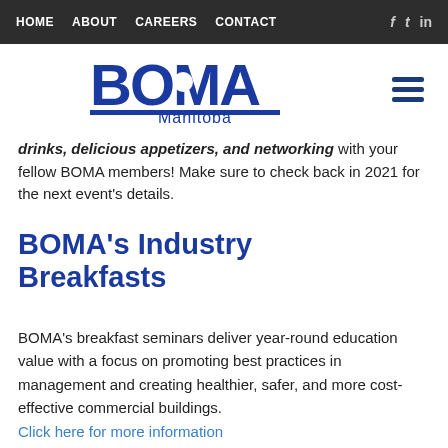HOME  ABOUT  CAREERS  CONTACT  f  t  in
[Figure (logo): BOMA Manitoba logo in blue]
drinks, delicious appetizers, and networking with your fellow BOMA members! Make sure to check back in 2021 for the next event's details.
BOMA's Industry Breakfasts
BOMA's breakfast seminars deliver year-round education value with a focus on promoting best practices in management and creating healthier, safer, and more cost-effective commercial buildings. Click here for more information